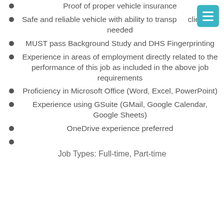Proof of proper vehicle insurance
Safe and reliable vehicle with ability to transport clients, if needed
MUST pass Background Study and DHS Fingerprinting
Experience in areas of employment directly related to the performance of this job as included in the above job requirements
Proficiency in Microsoft Office (Word, Excel, PowerPoint)
Experience using GSuite (GMail, Google Calendar, Google Sheets)
OneDrive experience preferred
Job Types: Full-time, Part-time